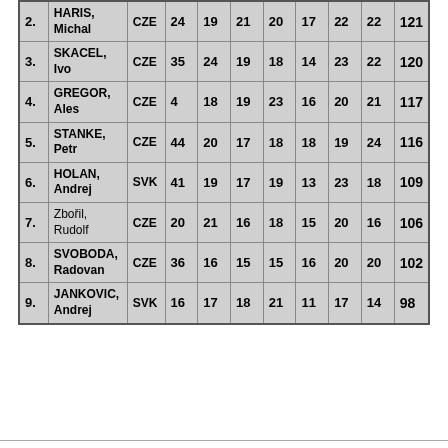| 2. | HARIS, Michal | CZE | 24 | 19 | 21 | 20 | 17 | 22 | 22 | 121 |
| 3. | SKACEL, Ivo | CZE | 35 | 24 | 19 | 18 | 14 | 23 | 22 | 120 |
| 4. | GREGOR, Ales | CZE | 4 | 18 | 19 | 23 | 16 | 20 | 21 | 117 |
| 5. | STANKE, Petr | CZE | 44 | 20 | 17 | 18 | 18 | 19 | 24 | 116 |
| 6. | HOLAN, Andrej | SVK | 41 | 19 | 17 | 19 | 13 | 23 | 18 | 109 |
| 7. | Zbořil, Rudolf | CZE | 20 | 21 | 16 | 18 | 15 | 20 | 16 | 106 |
| 8. | SVOBODA, Radovan | CZE | 36 | 16 | 15 | 15 | 16 | 20 | 20 | 102 |
| 9. | JANKOVIC, Andrej | SVK | 16 | 17 | 18 | 21 | 11 | 17 | 14 | 98 |